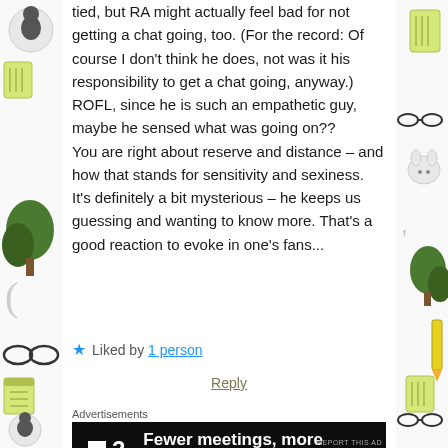tied, but RA might actually feel bad for not getting a chat going, too. (For the record: Of course I don't think he does, not was it his responsibility to get a chat going, anyway.) ROFL, since he is such an empathetic guy, maybe he sensed what was going on?? You are right about reserve and distance – and how that stands for sensitivity and sexiness. It's definitely a bit mysterious – he keeps us guessing and wanting to know more. That's a good reaction to evoke in one's fans...
★ Liked by 1 person
Reply
Advertisements
[Figure (other): Black advertisement banner with logo showing a white square and '2' text, with tagline 'Fewer meetings, more work.']